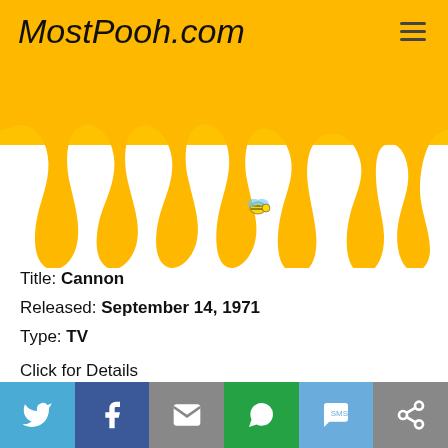MostPooh.com
[Figure (illustration): Dripping golden honey/yellow background with honey drips hanging down, bee icon visible]
Title: Cannon
Released: September 14, 1971
Type: TV
Click for Details
Cannon is a CBS detective television series produced by Quinn Martin which aired from March
[Figure (infographic): Social sharing bar with Twitter, Facebook, Email, WhatsApp, SMS, and copy/share buttons]